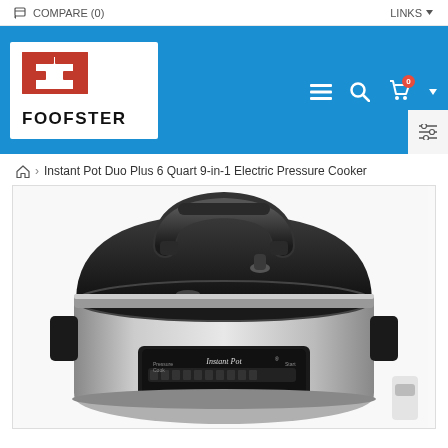COMPARE (0)   LINKS
[Figure (logo): Foofster logo: stylized red F icon above the text FOOFSTER in black]
Home > Instant Pot Duo Plus 6 Quart 9-in-1 Electric Pressure Cooker
[Figure (photo): Photo of an Instant Pot Duo Plus 6 Quart 9-in-1 Electric Pressure Cooker, showing the black lid with handle at top and stainless steel body with control panel at bottom]